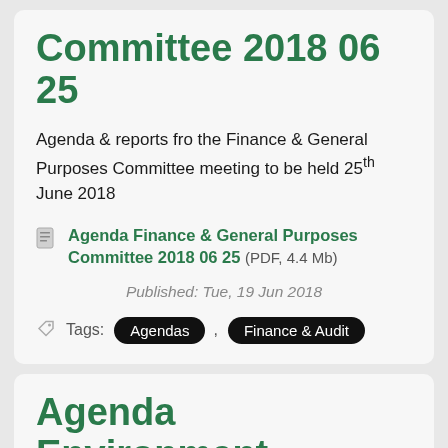Committee 2018 06 25
Agenda & reports fro the Finance & General Purposes Committee meeting to be held 25th June 2018
Agenda Finance & General Purposes Committee 2018 06 25 (PDF, 4.4 Mb)
Published: Tue, 19 Jun 2018
Tags: Agendas , Finance & Audit
Agenda Environment